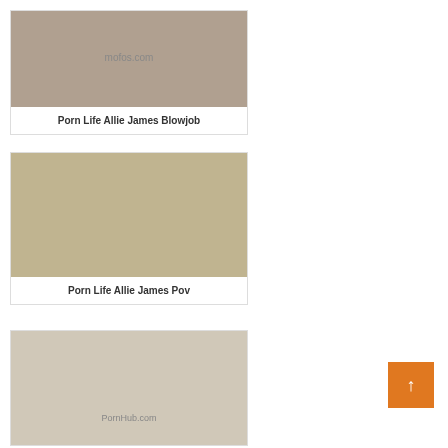[Figure (photo): Adult content thumbnail - blurred/placeholder]
Porn Life Allie James Blowjob
[Figure (photo): Adult content thumbnail - blurred/placeholder]
Porn Life Allie James Pov
[Figure (photo): Adult content thumbnail - blurred/placeholder]